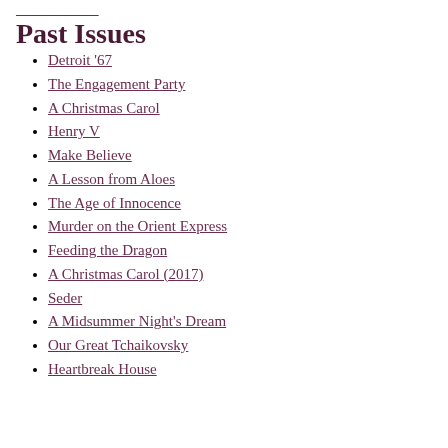Past Issues
Detroit '67
The Engagement Party
A Christmas Carol
Henry V
Make Believe
A Lesson from Aloes
The Age of Innocence
Murder on the Orient Express
Feeding the Dragon
A Christmas Carol (2017)
Seder
A Midsummer Night's Dream
Our Great Tchaikovsky
Heartbreak House